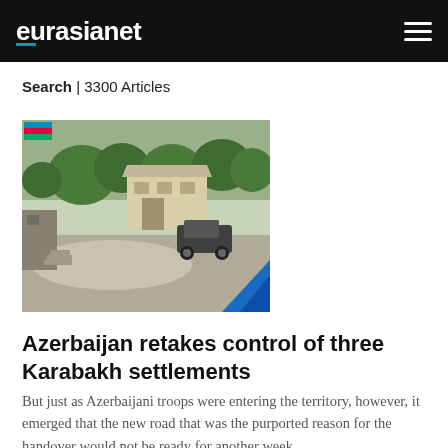eurasianet
Search | 3300 Articles
[Figure (photo): Outdoor scene showing a paved road area with trees, a building in the background, and a vehicle. An Azerbaijani flag emoji is visible in the top-left corner of the image. A blue diagonal stripe appears at the bottom-right corner.]
Azerbaijan retakes control of three Karabakh settlements
But just as Azerbaijani troops were entering the territory, however, it emerged that the new road that was the purported reason for the handover would not be ready for another week.